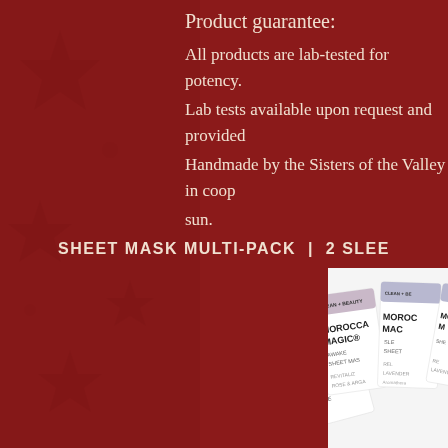Product guarantee:
All products are lab-tested for potency.
Lab tests available upon request and provided
Handmade by the Sisters of the Valley in coop sun.
SHEET MASK MULTI-PACK | 2 SLEE
[Figure (photo): Multiple Moroccan Magic sheet mask product packages fanned out, showing AWAKE SHEET MASK and SLEEP SHEET MASK varieties with REVITALIZING ROSE & ARGAN and RELAXING LAVENDER aromatherapy. CLEAN + BEAUTY branding visible.]